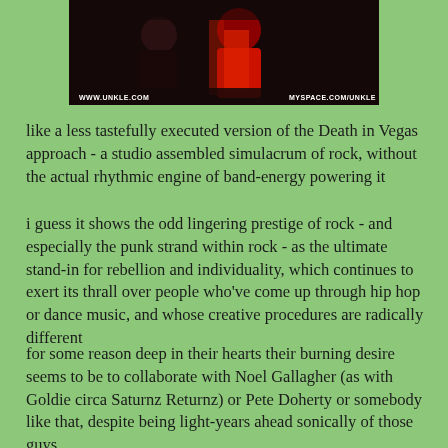[Figure (photo): Cropped photo with dark red and black tones showing a figure in red, with website URLs: WWW.UNKLE.COM and MYSPACE.COM/UNKLE at the bottom]
like a less tastefully executed version of the Death in Vegas approach - a studio assembled simulacrum of rock, without the actual rhythmic engine of band-energy powering it
i guess it shows the odd lingering prestige of rock - and especially the punk strand within rock - as the ultimate stand-in for rebellion and individuality, which continues to exert its thrall over people who've come up through hip hop or dance music, and whose creative procedures are radically different
for some reason deep in their hearts their burning desire seems to be to collaborate with Noel Gallagher (as with Goldie circa Saturnz Returnz) or Pete Doherty or somebody like that, despite being light-years ahead sonically of those guys